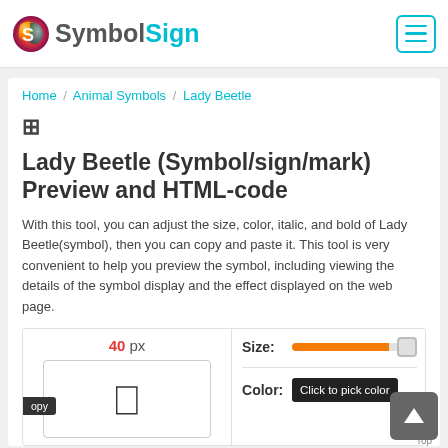SymbolSign
Home / Animal Symbols / Lady Beetle
⊞ Lady Beetle (Symbol/sign/mark) Preview and HTML-code
With this tool, you can adjust the size, color, italic, and bold of Lady Beetle(symbol), then you can copy and paste it. This tool is very convenient to help you preview the symbol, including viewing the details of the symbol display and the effect displayed on the web page.
[Figure (screenshot): Interactive tool showing 40px size label, a preview box with a Lady Beetle symbol character, a Size slider with orange fill, and a Color picker button labeled 'Click to pick color']